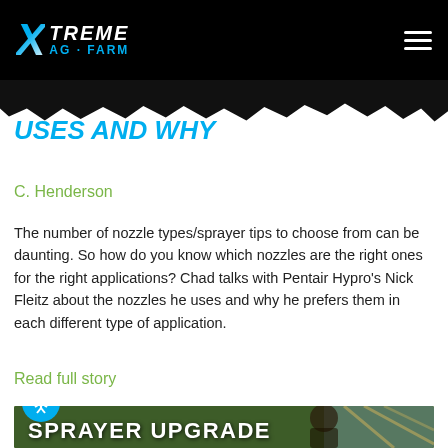XTreme AG Farm
Uses And Why
C. Henderson
The number of nozzle types/sprayer tips to choose from can be daunting. So how do you know which nozzles are the right ones for the right applications? Chad talks with Pentair Hypro's Nick Fleitz about the nozzles he uses and why he prefers them in each different type of application.
Read full story
[Figure (photo): Card image showing SPRAYER UPGRADE text overlaid on outdoor farming scene with person]